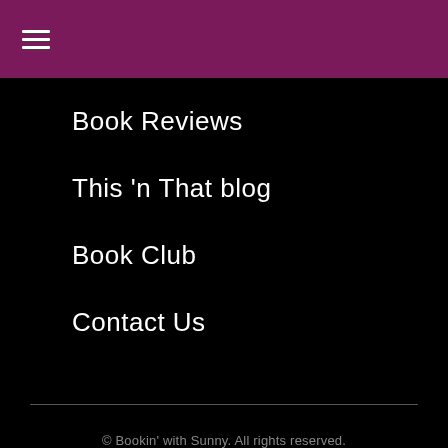≡
Book Reviews
This 'n That blog
Book Club
Contact Us
© Bookin' with Sunny. All rights reserved.
Privacy Policy